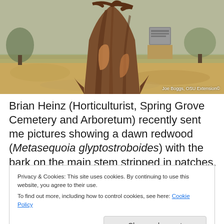[Figure (photo): Photograph of a dawn redwood tree trunk in a cemetery setting. The bark is stripped in patches on the main stem. A grave marker is visible in the background. Photo credit: Joe Boggs, OSU Extension©]
Brian Heinz (Horticulturist, Spring Grove Cemetery and Arboretum) recently sent me pictures showing a dawn redwood (Metasequoia glyptostroboides) with the bark on the main stem stripped in patches. The damage extended
Privacy & Cookies: This site uses cookies. By continuing to use this website, you agree to their use.
To find out more, including how to control cookies, see here: Cookie Policy